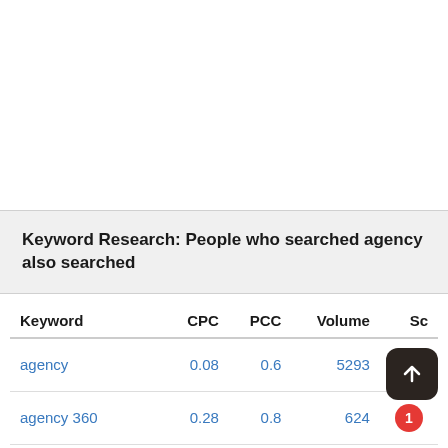Keyword Research: People who searched agency also searched
| Keyword | CPC | PCC | Volume | Sc |
| --- | --- | --- | --- | --- |
| agency | 0.08 | 0.6 | 5293 | 6x |
| agency 360 | 0.28 | 0.8 | 624 | 1x |
| agency zoom | 1.9 | 0.3 | 7144 |  |
| agency360 login | 1.27 | 0.4 | 481 |  |